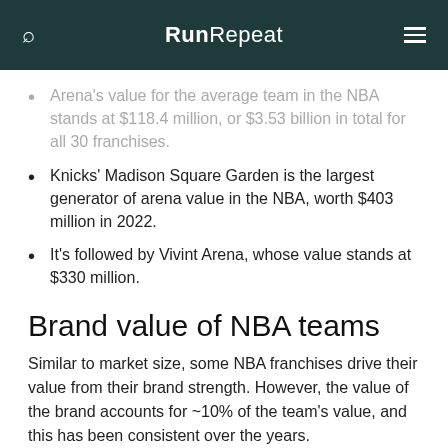RunRepeat
Arena's value for the average team in the NBA stands at $118.4 million, or $3.53 billion in total for all 30 franchises.
Knicks' Madison Square Garden is the largest generator of arena value in the NBA, worth $403 million in 2022.
It's followed by Vivint Arena, whose value stands at $330 million.
Brand value of NBA teams
Similar to market size, some NBA franchises drive their value from their brand strength. However, the value of the brand accounts for ~10% of the team's value, and this has been consistent over the years.
The average brand value of NBA teams is $262.4 million in 2021. This presents only 11% of the total franchise's value.